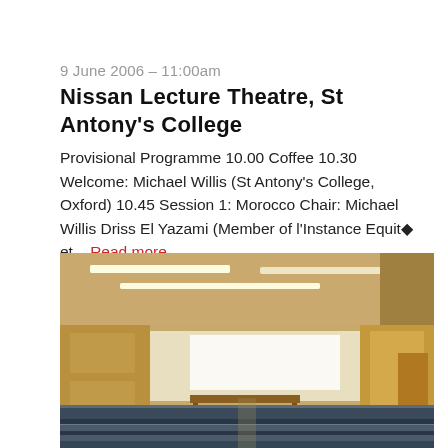9 June 2006 – 11:00am
Nissan Lecture Theatre, St Antony's College
Provisional Programme 10.00 Coffee 10.30 Welcome: Michael Willis (St Antony's College, Oxford) 10.45 Session 1: Morocco Chair: Michael Willis Driss El Yazami (Member of l'Instance Equité et... Read more
[Figure (photo): Interior photograph of the Nissan Lecture Theatre at St Antony's College, Oxford, showing rows of blue/grey auditorium seats, wooden panelled walls, a whiteboard at the front, and fluorescent ceiling lights.]